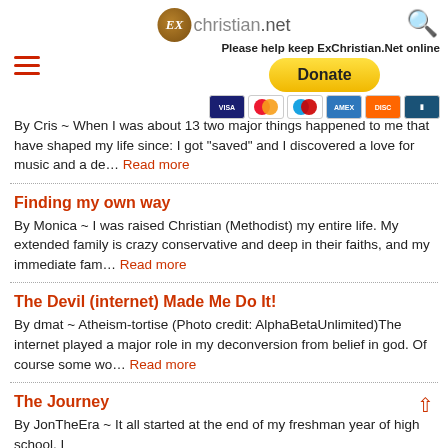ExChristian.net
Please help keep ExChristian.Net online
By Cris ~ When I was about 13 two major things happened to me that have shaped my life since: I got "saved" and I discovered a love for music and a de... Read more
Finding my own way
By Monica ~ I was raised Christian (Methodist) my entire life. My extended family is crazy conservative and deep in their faiths, and my immediate fam... Read more
The Devil (internet) Made Me Do It!
By dmat ~ Atheism-tortise (Photo credit: AlphaBetaUnlimited)The internet played a major role in my deconversion from belief in god. Of course some wo... Read more
The Journey
By JonTheEra ~ It all started at the end of my freshman year of high school, I